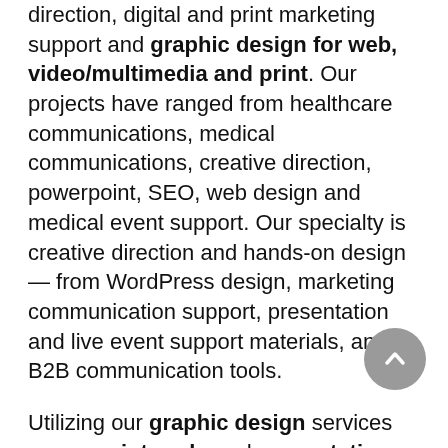direction, digital and print marketing support and graphic design for web, video/multimedia and print. Our projects have ranged from healthcare communications, medical communications, creative direction, powerpoint, SEO, web design and medical event support. Our specialty is creative direction and hands-on design — from WordPress design, marketing communication support, presentation and live event support materials, and B2B communication tools.
Utilizing our graphic design services across print, web, and presentation, we have been successful in delivering projects to our clients for over 15 years.
Located in Monmouth County New Jersey, we